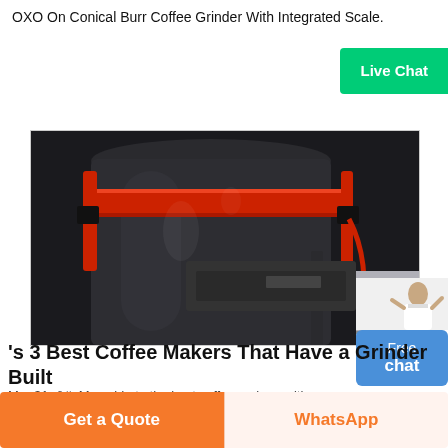OXO On Conical Burr Coffee Grinder With Integrated Scale.
[Figure (screenshot): Live Chat button - green rounded rectangle with white text 'Live Chat']
[Figure (photo): Close-up photo of a large industrial coffee grinding machine with dark grey cylindrical drum and red metal band/strap around it, with black metal frame and red cables visible]
[Figure (illustration): Free chat widget with avatar of a woman in white lab coat and blue rounded rectangle box with 'Free chat' text]
's 3 Best Coffee Makers That Have a Grinder Built
Mar 31, &#: My guide to the best coffee makers with a grinder built-
[Figure (screenshot): Bottom bar with orange 'Get a Quote' button on left and peach/white 'WhatsApp' button on right]